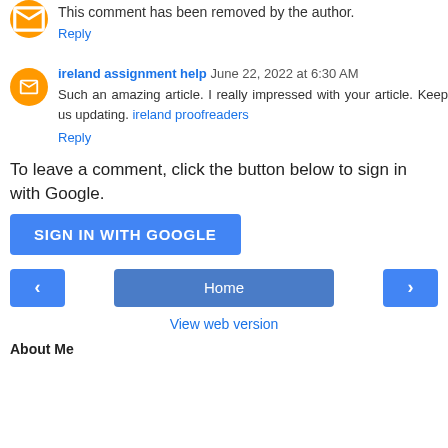This comment has been removed by the author.
Reply
ireland assignment help  June 22, 2022 at 6:30 AM
Such an amazing article. I really impressed with your article. Keep us updating. ireland proofreaders
Reply
To leave a comment, click the button below to sign in with Google.
SIGN IN WITH GOOGLE
Home
View web version
About Me